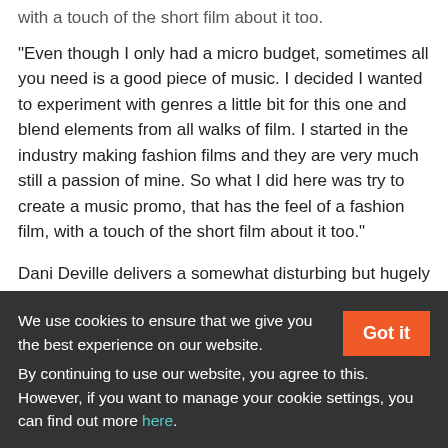with a touch of the short film about it too.
"Even though I only had a micro budget, sometimes all you need is a good piece of music. I decided I wanted to experiment with genres a little bit for this one and blend elements from all walks of film. I started in the industry making fashion films and they are very much still a passion of mine. So what I did here was try to create a music promo, that has the feel of a fashion film, with a touch of the short film about it too."
Dani Deville delivers a somewhat disturbing but hugely watchable ‘fashion short’ masquerading as a music promo
We use cookies to ensure that we give you the best experience on our website.
By continuing to use our website, you agree to this. However, if you want to manage your cookie settings, you can find out more here.